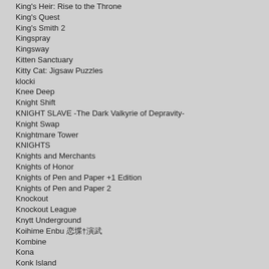King's Heir: Rise to the Throne
King's Quest
King's Smith 2
Kingspray
Kingsway
Kitten Sanctuary
Kitty Cat: Jigsaw Puzzles
klocki
Knee Deep
Knight Shift
KNIGHT SLAVE -The Dark Valkyrie of Depravity-
Knight Swap
Knightmare Tower
KNIGHTS
Knights and Merchants
Knights of Honor
Knights of Pen and Paper +1 Edition
Knights of Pen and Paper 2
Knockout
Knockout League
Knytt Underground
Koihime Enbu 恋姫†演武
Kombine
Kona
Konk Island
Korra Trainer
Korsakovia
Kotodama: The 7 Mysteries of Fujisawa
Koya Rift
Kozue's Strange Journey
Krai Mira: Extended Cut
Kraken Academy!!
Krater
Kraven Manor
KrissX
KRUNCH
Krush Kill 'N Destroy 2: Krossfire
Krush Kill 'N Destroy Xtreme